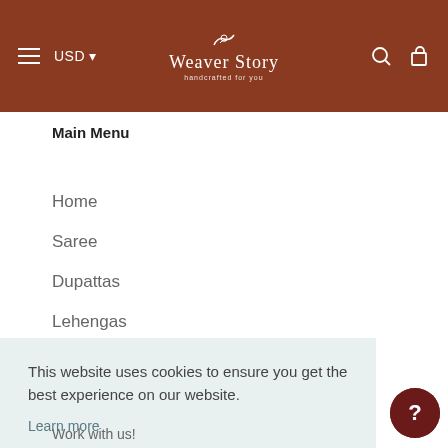Weaver Story — USD — Main navigation header
Main Menu
Home
Saree
Dupattas
Lehengas
This website uses cookies to ensure you get the best experience on our website.
Learn more
Got it!
Work with us!